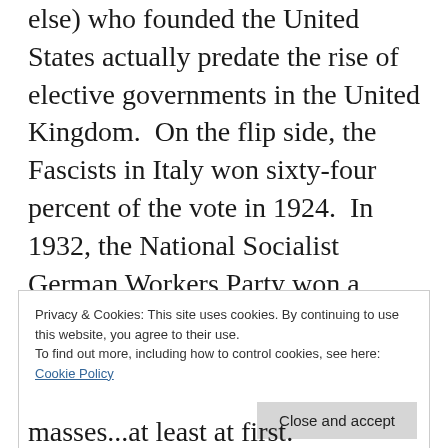else) who founded the United States actually predate the rise of elective governments in the United Kingdom.  On the flip side, the Fascists in Italy won sixty-four percent of the vote in 1924.  In 1932, the National Socialist German Workers Party won a plurality of seats in the Reichstag and it was the elected President of Germany, Paul von Hindenburg who (on advice of his chancellor) issued the Reichstag Fire Degree which nullified many civil liberties.
Privacy & Cookies: This site uses cookies. By continuing to use this website, you agree to their use.
To find out more, including how to control cookies, see here:
Cookie Policy
masses...at least at first.